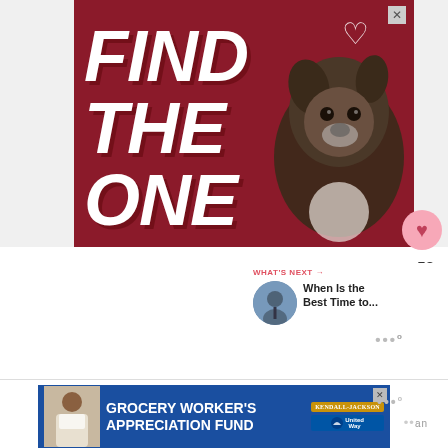[Figure (advertisement): Dark red/maroon advertisement banner with large bold italic white text reading FIND THE ONE with a brindle puppy dog on the right side and a white heart outline in upper right corner. Close X button in top right corner.]
[Figure (infographic): What's Next section on the right side with a circular thumbnail image and text 'When Is the Best Time to...']
[Figure (advertisement): Blue banner advertisement for Grocery Worker's Appreciation Fund featuring a person in an apron, Kendall-Jackson and United Way logos, close X button.]